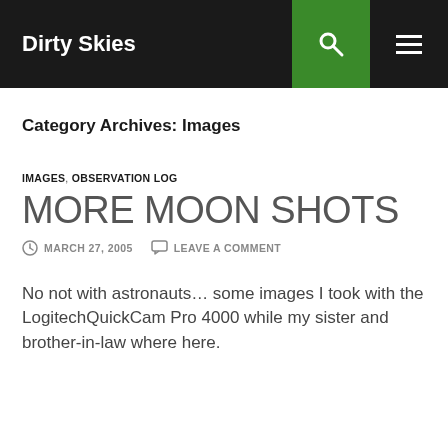Dirty Skies
Category Archives: Images
IMAGES, OBSERVATION LOG
MORE MOON SHOTS
MARCH 27, 2005   LEAVE A COMMENT
No not with astronauts… some images I took with the LogitechQuickCam Pro 4000 while my sister and brother-in-law where here.